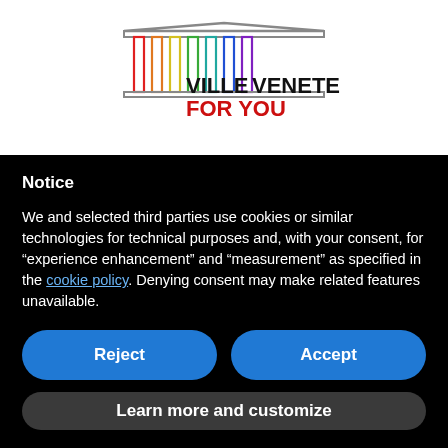[Figure (logo): Ville Venete For You logo: a classical temple/colonnade with colorful pillars (red, orange, yellow, green, teal, blue, purple) and grey roof, with text VILLEVENETE in black bold and FOR YOU in red bold]
Notice
We and selected third parties use cookies or similar technologies for technical purposes and, with your consent, for “experience enhancement” and “measurement” as specified in the cookie policy. Denying consent may make related features unavailable.
Reject
Accept
Learn more and customize